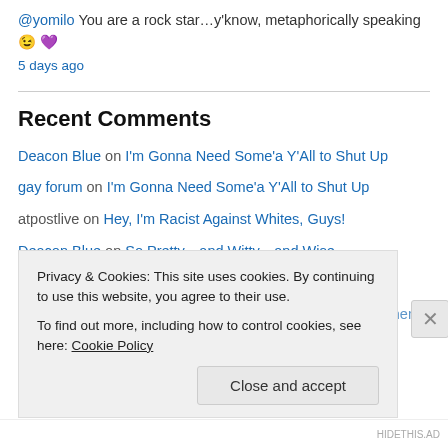@yomilo You are a rock star…y'know, metaphorically speaking 😉 💜
5 days ago
Recent Comments
Deacon Blue on I'm Gonna Need Some'a Y'All to Shut Up
gay forum on I'm Gonna Need Some'a Y'All to Shut Up
atpostlive on Hey, I'm Racist Against Whites, Guys!
Deacon Blue on So Pretty…and Witty…and Wise…
sinpolaris on So Pretty…and Witty…and Wise…
Deacon Blue on Let's Sit On This Privilege Thing for a Moment
Privacy & Cookies: This site uses cookies. By continuing to use this website, you agree to their use. To find out more, including how to control cookies, see here: Cookie Policy